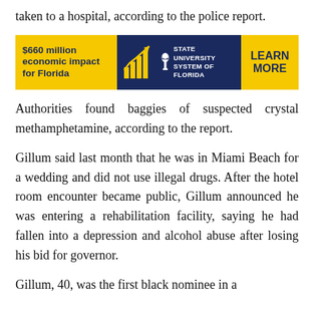taken to a hospital, according to the police report.
[Figure (infographic): Advertisement banner for State University System of Florida showing '$660 million economic impact for Florida' on yellow background, a navy center section with bar chart arrow icon and 'STATE UNIVERSITY SYSTEM OF FLORIDA' text, and 'LEARN MORE' on yellow background on the right.]
Authorities found baggies of suspected crystal methamphetamine, according to the report.
Gillum said last month that he was in Miami Beach for a wedding and did not use illegal drugs. After the hotel room encounter became public, Gillum announced he was entering a rehabilitation facility, saying he had fallen into a depression and alcohol abuse after losing his bid for governor.
Gillum, 40, was the first black nominee in a